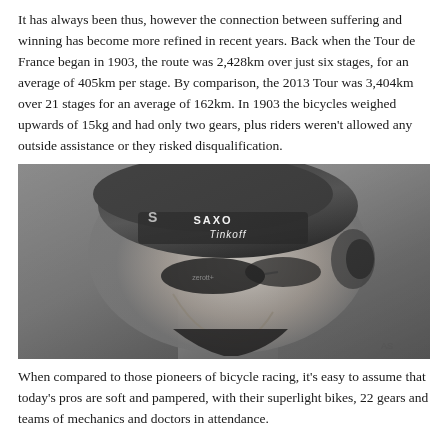It has always been thus, however the connection between suffering and winning has become more refined in recent years. Back when the Tour de France began in 1903, the route was 2,428km over just six stages, for an average of 405km per stage. By comparison, the 2013 Tour was 3,404km over 21 stages for an average of 162km. In 1903 the bicycles weighed upwards of 15kg and had only two gears, plus riders weren't allowed any outside assistance or they risked disqualification.
[Figure (photo): Black and white close-up photo of a cyclist wearing a Saxo Tinkoff team helmet and sunglasses, looking downward, face in profile.]
When compared to those pioneers of bicycle racing, it's easy to assume that today's pros are soft and pampered, with their superlight bikes, 22 gears and teams of mechanics and doctors in attendance.